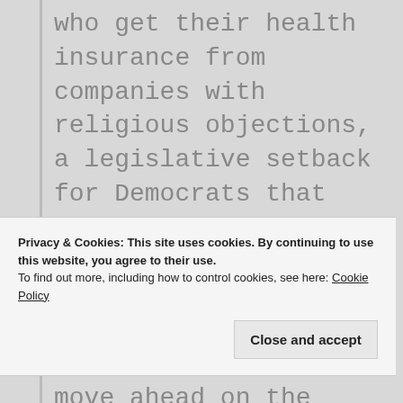who get their health insurance from companies with religious objections, a legislative setback for Democrats that they hope will be a political winner in November's elections.

The vote was 56-43 to move ahead on the measure, short of the 60 votes necessary to
Privacy & Cookies: This site uses cookies. By continuing to use this website, you agree to their use.
To find out more, including how to control cookies, see here: Cookie Policy
Close and accept